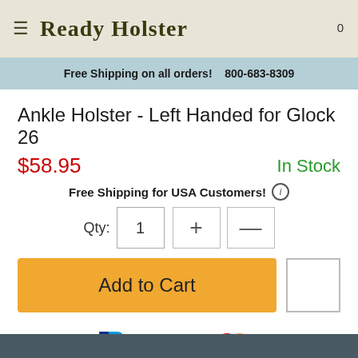Ready Holster
Free Shipping on all orders!   800-683-8309
Ankle Holster - Left Handed for Glock 26
$58.95   In Stock
Free Shipping for USA Customers!
Qty: 1
Add to Cart
[Figure (logo): PayPal logo and payment card logos (Visa, Mastercard, Discover, American Express)]